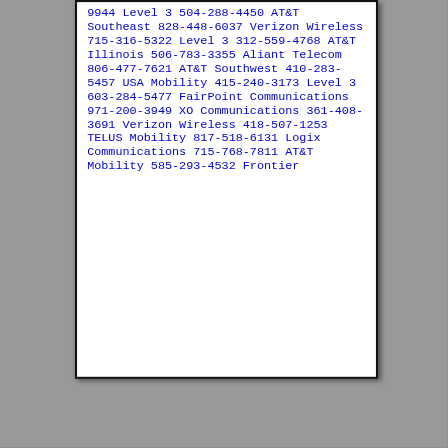9944 Level 3 504-288-4450 AT&T Southeast 828-448-6037 Verizon Wireless 715-316-5322 Level 3 312-559-4768 AT&T Illinois 506-783-3355 Aliant Telecom 806-477-7621 AT&T Southwest 410-283-5457 USA Mobility 415-240-3173 Level 3 603-284-5477 FairPoint Communications 971-200-3949 XO Communications 361-408-3691 Verizon Wireless 418-507-1253 TELUS Mobility 817-518-6131 Logix Communications 715-768-7811 AT&T Mobility 585-293-4532 Frontier